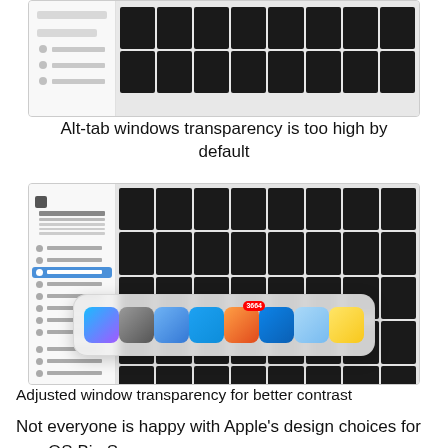[Figure (screenshot): Screenshot of macOS app with sidebar and photo grid showing alt-tab windows with high transparency]
Alt-tab windows transparency is too high by default
[Figure (screenshot): Screenshot of macOS Pages app with sidebar and photo grid, with dock overlay showing app icons including Figma, System Preferences, Finder, Twitter, Notchmeister (3664 badge), App Store, Preview, and Notes — demonstrating adjusted window transparency for better contrast]
Adjusted window transparency for better contrast
Not everyone is happy with Apple’s design choices for macOS Big Sur: